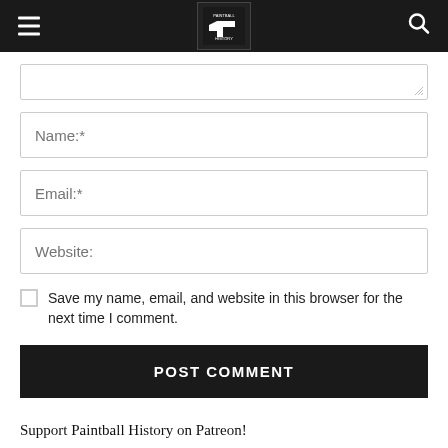Paintball History
[Figure (screenshot): Comment form with textarea (partially visible, resize handle), Name, Email, Website input fields]
Save my name, email, and website in this browser for the next time I comment.
POST COMMENT
Support Paintball History on Patreon!